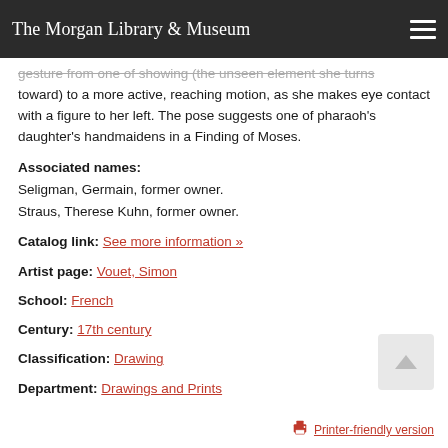The Morgan Library & Museum
gesture from one of showing (the unseen element she turns toward) to a more active, reaching motion, as she makes eye contact with a figure to her left. The pose suggests one of pharaoh's daughter's handmaidens in a Finding of Moses.
Associated names:
Seligman, Germain, former owner.
Straus, Therese Kuhn, former owner.
Catalog link: See more information »
Artist page: Vouet, Simon
School: French
Century: 17th century
Classification: Drawing
Department: Drawings and Prints
Printer-friendly version